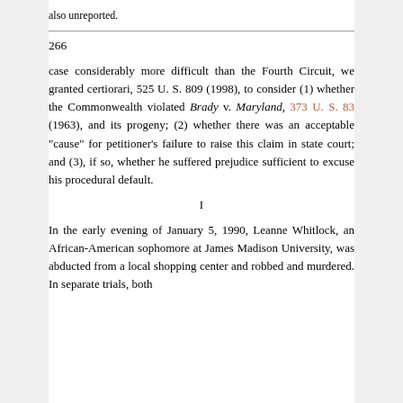also unreported.
266
case considerably more difficult than the Fourth Circuit, we granted certiorari, 525 U. S. 809 (1998), to consider (1) whether the Commonwealth violated Brady v. Maryland, 373 U. S. 83 (1963), and its progeny; (2) whether there was an acceptable "cause" for petitioner's failure to raise this claim in state court; and (3), if so, whether he suffered prejudice sufficient to excuse his procedural default.
I
In the early evening of January 5, 1990, Leanne Whitlock, an African-American sophomore at James Madison University, was abducted from a local shopping center and robbed and murdered. In separate trials, both